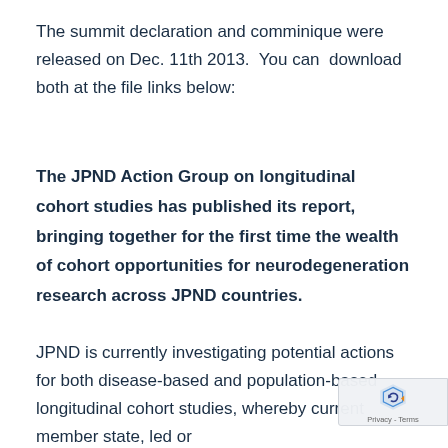The summit declaration and comminique were released on Dec. 11th 2013.  You can  download both at the file links below:
The JPND Action Group on longitudinal cohort studies has published its report, bringing together for the first time the wealth of cohort opportunities for neurodegeneration research across JPND countries.
JPND is currently investigating potential actions for both disease-based and population-based longitudinal cohort studies, whereby current member state, led or...